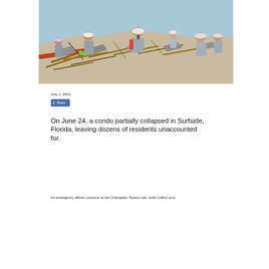[Figure (photo): Rescue workers in hard hats and gray uniforms searching through rubble and debris at the Champlain Towers collapse site in Surfside, Florida]
July 1, 2021
[Figure (other): Facebook Share button]
On June 24, a condo partially collapsed in Surfside, Florida, leaving dozens of residents unaccounted for.
As emergency efforts continue at the Champlain Towers site, both Collins and